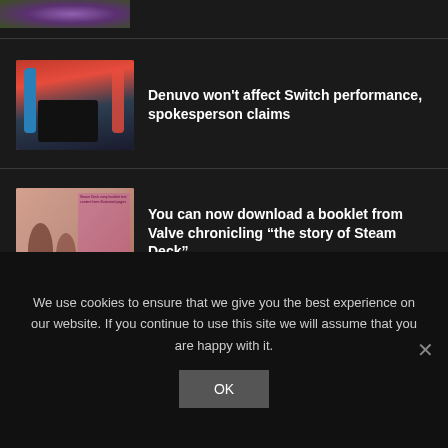[Figure (screenshot): Partial top image strip showing a colorful game scene (purple/green tones)]
Denuvo won't affect Switch performance, spokesperson claims
[Figure (photo): Nintendo Switch console box with red and blue Joy-Con controllers]
You can now download a booklet from Valve chronicling “the story of Steam Deck”
[Figure (photo): Steam Deck booklet page showing illustrated figures and pink/red design]
Amazon EA acquisition report refuted by CNBC
[Figure (logo): EA Sports circular logo in black and white]
We use cookies to ensure that we give you the best experience on our website. If you continue to use this site we will assume that you are happy with it.